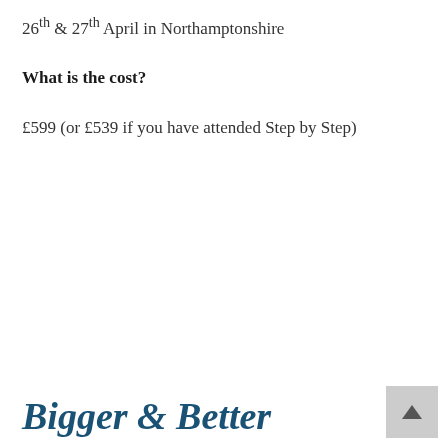26th & 27th April in Northamptonshire
What is the cost?
£599 (or £539 if you have attended Step by Step)
Bigger & Better